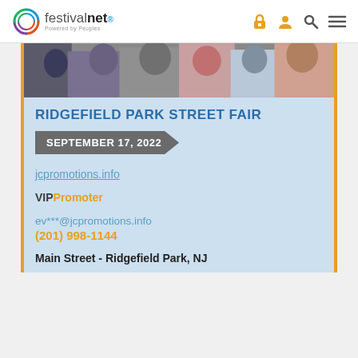festivalnet Powered by Peoples
[Figure (photo): Crowd of people at a street fair event, partially visible at the top of the content card]
RIDGEFIELD PARK STREET FAIR
SEPTEMBER 17, 2022
jcpromotions.info
VIPPromoter
ev***@jcpromotions.info
(201) 998-1144
Main Street - Ridgefield Park, NJ